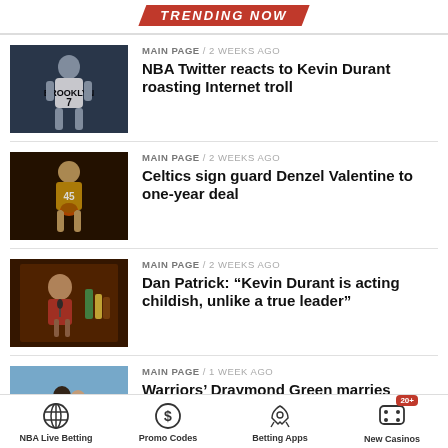TRENDING NOW
[Figure (photo): Basketball player in Brooklyn Nets jersey #7 standing with arms crossed]
MAIN PAGE / 2 weeks ago
NBA Twitter reacts to Kevin Durant roasting Internet troll
[Figure (photo): Basketball player #45 in gold uniform holding a basketball on court]
MAIN PAGE / 2 weeks ago
Celtics sign guard Denzel Valentine to one-year deal
[Figure (photo): Man in red shirt at a microphone in a studio setting with bottles in background]
MAIN PAGE / 2 weeks ago
Dan Patrick: “Kevin Durant is acting childish, unlike a true leader”
[Figure (photo): Couple kissing outdoors with mountains in background]
MAIN PAGE / 1 week ago
Warriors’ Draymond Green marries fiancée Hazel Renee
NBA Live Betting | Promo Codes | Betting Apps | New Casinos